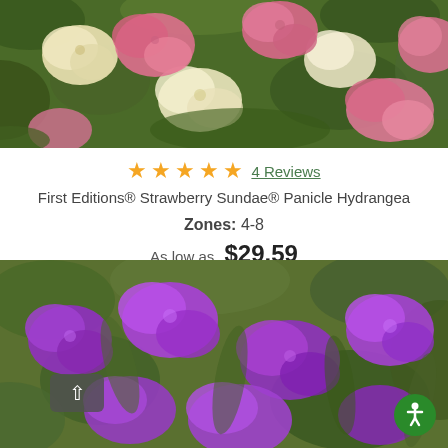[Figure (photo): Close-up photo of First Editions Strawberry Sundae Panicle Hydrangea flowers — clusters of pink and white blooms among dark green leaves]
★★★★★ 4 Reviews
First Editions® Strawberry Sundae® Panicle Hydrangea
Zones: 4-8
As low as  $29.59
[Figure (photo): Photo of purple flowering butterfly bush (Buddleia) plants in a garden setting with green foliage]